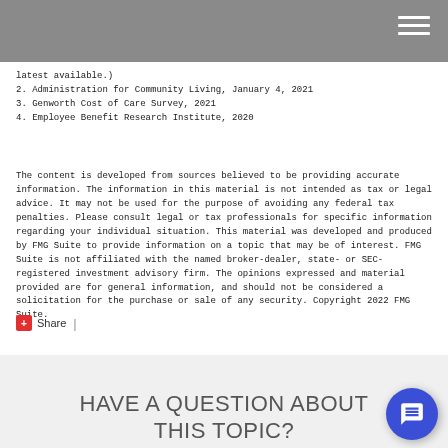Navigation menu header bar
latest available.)
2. Administration for Community Living, January 4, 2021
3. Genworth Cost of Care Survey, 2021
4. Employee Benefit Research Institute, 2020
The content is developed from sources believed to be providing accurate information. The information in this material is not intended as tax or legal advice. It may not be used for the purpose of avoiding any federal tax penalties. Please consult legal or tax professionals for specific information regarding your individual situation. This material was developed and produced by FMG Suite to provide information on a topic that may be of interest. FMG Suite is not affiliated with the named broker-dealer, state- or SEC-registered investment advisory firm. The opinions expressed and material provided are for general information, and should not be considered a solicitation for the purchase or sale of any security. Copyright 2022 FMG Suite.
+ Share |
HAVE A QUESTION ABOUT THIS TOPIC?